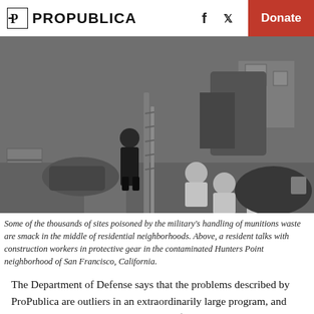ProPublica — Donate
[Figure (photo): Black and white photo of workers in protective hazmat gear digging in a residential backyard. A resident in dark clothing speaks with them near a wooden fence. Houses, a storage shelving unit, and a car are visible in the background.]
Some of the thousands of sites poisoned by the military's handling of munitions waste are smack in the middle of residential neighborhoods. Above, a resident talks with construction workers in protective gear in the contaminated Hunters Point neighborhood of San Francisco, California.
The Department of Defense says that the problems described by ProPublica are outliers in an extraordinarily large program, and that the Pentagon has spent more than $43 billion cleaning up